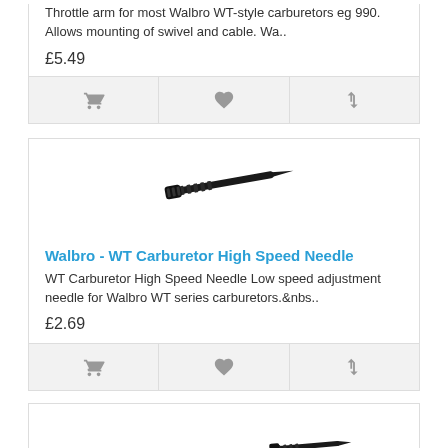carburetors eg 990...
Throttle arm for most Walbro WT-style carburetors eg 990. Allows mounting of swivel and cable. Wa..
£5.49
[Figure (other): Shopping cart icon, heart/wishlist icon, and compare arrows icon - action buttons row]
[Figure (photo): Walbro WT Carburetor High Speed Needle - small black screw/needle part on white background]
Walbro - WT Carburetor High Speed Needle
WT Carburetor High Speed Needle Low speed adjustment needle for Walbro WT series carburetors.&nbs..
£2.69
[Figure (other): Shopping cart icon, heart/wishlist icon, and compare arrows icon - action buttons row]
[Figure (photo): Partial view of another needle/screw part at the bottom of the page]